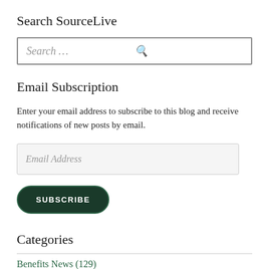Search SourceLive
[Figure (screenshot): Search input box with placeholder text 'Search ...' and a magnifying glass icon on the right]
Email Subscription
Enter your email address to subscribe to this blog and receive notifications of new posts by email.
[Figure (screenshot): Email Address input field with placeholder text 'Email Address']
[Figure (screenshot): SUBSCRIBE button — dark green rounded pill button with white uppercase text]
Categories
Benefits News (129)